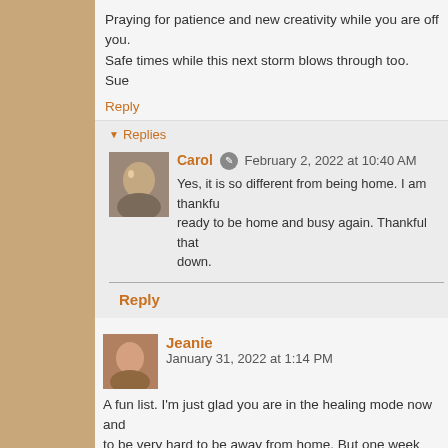Praying for patience and new creativity while you are off you. Safe times while this next storm blows through too. Sue
Reply
Replies
Carol  February 2, 2022 at 10:40 AM
Yes, it is so different from being home. I am thankful ready to be home and busy again. Thankful that down.
Reply
Jeanie  January 31, 2022 at 1:14 PM
A fun list. I'm just glad you are in the healing mode now and to be very hard to be away from home. But one week down,
Reply
Replies
Carol  February 2, 2022 at 10:40 AM